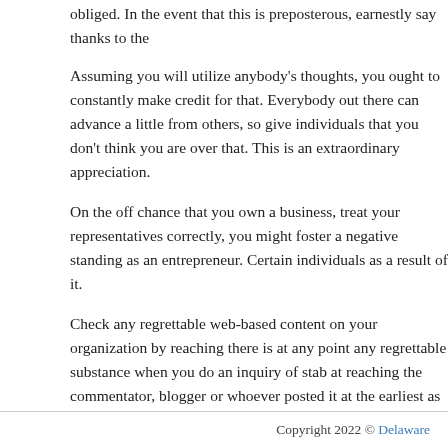obliged. In the event that this is preposterous, earnestly say thanks to the
Assuming you will utilize anybody’s thoughts, you ought to constantly make credit for that. Everybody out there can advance a little from others, so give individuals that you don’t think you are over that. This is an extraordinary appreciation.
On the off chance that you own a business, treat your representatives correctly, you might foster a negative standing as an entrepreneur. Certain individuals as a result of it.
Check any regrettable web-based content on your organization by reaching there is at any point any regrettable substance when you do an inquiry of stab at reaching the commentator, blogger or whoever posted it at the earliest as to whether there’s anything you can do change their negative feeling to they are reluctant to do as such, compose a comment(if conceivable) with
Posted in Uncategorized
Copyright 2022 © Delaware